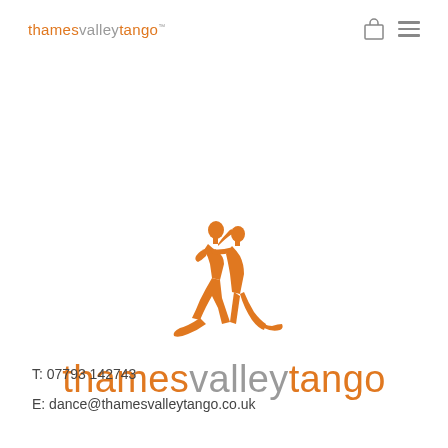thamesvalleytango
[Figure (logo): Orange silhouette of two tango dancers (a couple embracing in tango pose) above the Thames Valley Tango brand name in orange and gray lettering]
T: 07793 142743
E: dance@thamesvalleytango.co.uk